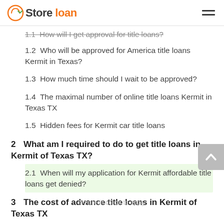Store loan
1.1  How will I get approval for title loans?
1.2  Who will be approved for America title loans Kermit in Texas?
1.3  How much time should I wait to be approved?
1.4  The maximal number of online title loans Kermit in Texas TX
1.5  Hidden fees for Kermit car title loans
2  What am I required to do to get title loans in Kermit of Texas TX?
2.1  When will my application for Kermit affordable title loans get denied?
3  The cost of advance title loans in Kermit of Texas TX